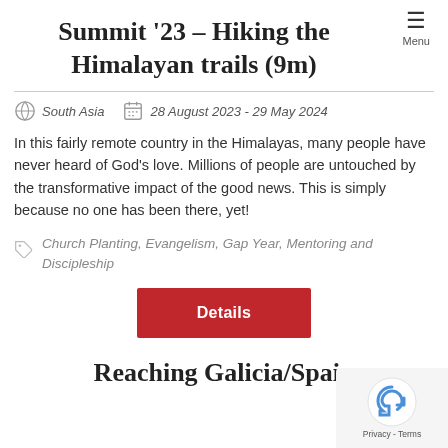Menu
Summit '23 – Hiking the Himalayan trails (9m)
South Asia   28 August 2023 - 29 May 2024
In this fairly remote country in the Himalayas, many people have never heard of God's love. Millions of people are untouched by the transformative impact of the good news. This is simply because no one has been there, yet!
Church Planting, Evangelism, Gap Year, Mentoring and Discipleship
Details
Reaching Galicia/Spain